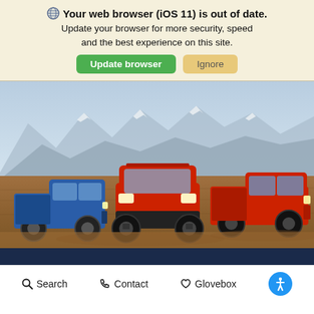Your web browser (iOS 11) is out of date. Update your browser for more security, speed and the best experience on this site.
Update browser | Ignore
[Figure (photo): Three pickup trucks (one blue, two red) parked on a dirt terrain with snow-capped mountains in the background]
Search | Contact | Glovebox | Accessibility